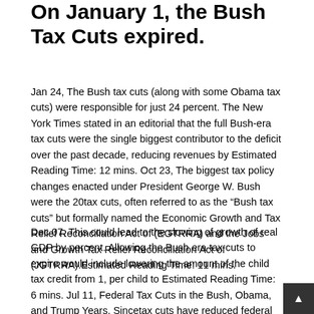On January 1, the Bush Tax Cuts expired.
Jan 24, The Bush tax cuts (along with some Obama tax cuts) were responsible for just 24 percent. The New York Times stated in an editorial that the full Bush-era tax cuts were the single biggest contributor to the deficit over the past decade, reducing revenues by Estimated Reading Time: 12 mins. Oct 23, The biggest tax policy changes enacted under President George W. Bush were the 20tax cuts, often referred to as the “Bush tax cuts” but formally named the Economic Growth and Tax Relief Reconciliation Act of (EGTRRA) and the Jobs and Growth Tax Relief Reconciliation Act of (JGTRRA).Estimated Reading Time: 11 mins.
Dec 07, This could lead to the slowing of growth of real GDP by percent. Allowing the Bush era tax cuts to expire would include lowering the amount of the child tax credit from 1, per child to Estimated Reading Time: 6 mins. Jul 11, Federal Tax Cuts in the Bush, Obama, and Trump Years. Sincetax cuts have reduced federal revenue by trillions of dollars and disproportionately